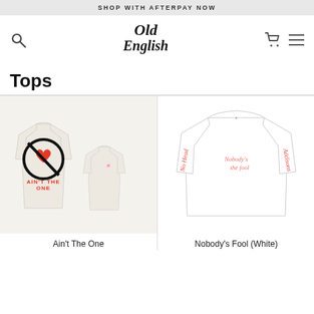SHOP WITH AFTERPAY NOW
[Figure (logo): Old English script logo]
Tops
[Figure (photo): Ain't The One long sleeve shirt in cream/off-white with red heart no-entry graphic on back and small logo on front]
Ain't The One
[Figure (photo): Nobody's Fool (White) long sleeve shirt in white with red cursive script on sleeves]
Nobody's Fool (White)